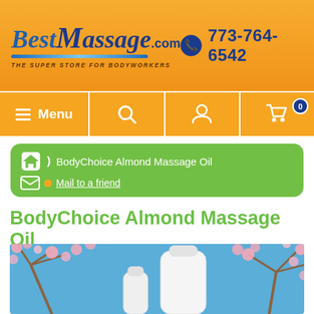BestMassage.com — THE SUPER STORE FOR BODYWORKERS — 773-764-6542
[Figure (screenshot): Website navigation bar with hamburger Menu, search icon, user icon, and shopping cart with 0 items]
[Figure (infographic): Green rounded breadcrumb bar showing home icon, BodyChoice Almond Massage Oil breadcrumb, and Mail to a friend link]
BodyChoice Almond Massage Oil
[Figure (photo): Photo of white plastic massage oil bottles (one large gallon jug, one smaller bottle) against a background of pink cherry blossom flowers and blue sky]